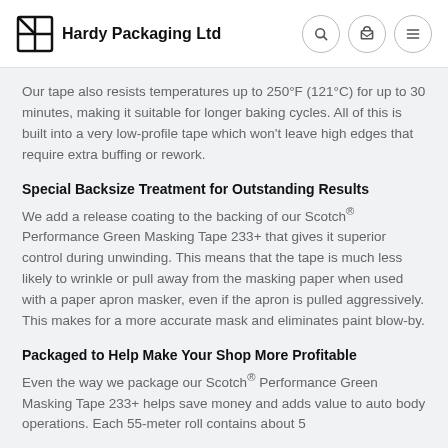Hardy Packaging Ltd
Our tape also resists temperatures up to 250°F (121°C) for up to 30 minutes, making it suitable for longer baking cycles. All of this is built into a very low-profile tape which won't leave high edges that require extra buffing or rework.
Special Backsize Treatment for Outstanding Results
We add a release coating to the backing of our Scotch® Performance Green Masking Tape 233+ that gives it superior control during unwinding. This means that the tape is much less likely to wrinkle or pull away from the masking paper when used with a paper apron masker, even if the apron is pulled aggressively. This makes for a more accurate mask and eliminates paint blow-by.
Packaged to Help Make Your Shop More Profitable
Even the way we package our Scotch® Performance Green Masking Tape 233+ helps save money and adds value to auto body operations. Each 55-meter roll contains about 5